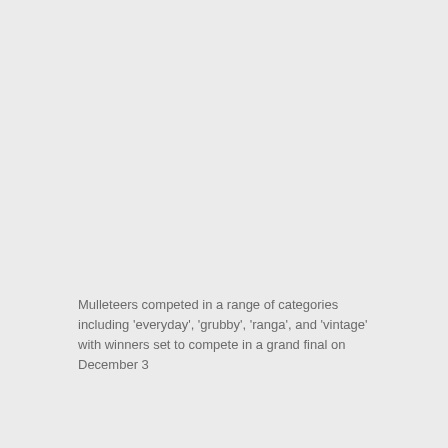Mulleteers competed in a range of categories including 'everyday', 'grubby', 'ranga', and 'vintage' with winners set to compete in a grand final on December 3